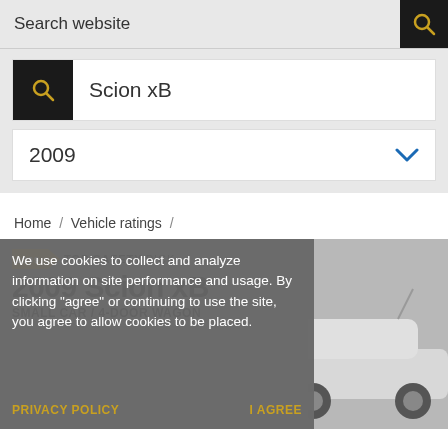Search website
Scion xB
2009
Home / Vehicle ratings /
[Figure (screenshot): 2009 Top Safety Pick badge with '2009 Scion xB' vehicle name and 'SMALL CAR / 4-DOOR WAGON' subtype on a grey banner overlay]
We use cookies to collect and analyze information on site performance and usage. By clicking "agree" or continuing to use the site, you agree to allow cookies to be placed.
PRIVACY POLICY
I AGREE